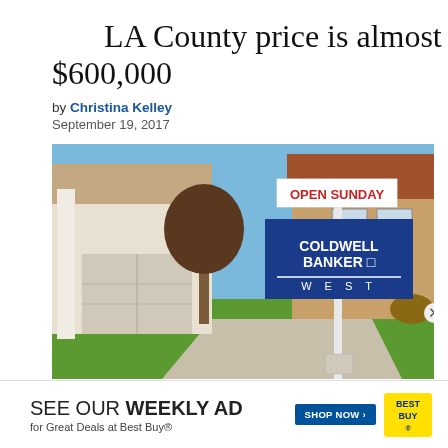LA County price is almost $600,000
by Christina Kelley
September 19, 2017
[Figure (photo): A Coldwell Banker West real estate for-sale sign with an 'Open Sunday' rider in front of a residential home with green lawn and trees.]
[Figure (infographic): Best Buy advertisement banner: 'SEE OUR WEEKLY AD for Great Deals at Best Buy®' with Shop Now button and Best Buy logo]